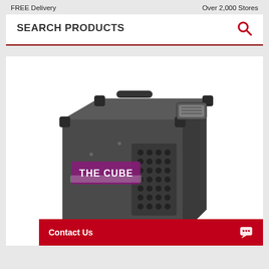FREE Delivery    Over 2,000 Stores
SEARCH PRODUCTS
[Figure (photo): Photo of 'The Cube' industrial dehumidifier unit, a gray box-shaped machine with handles on top, ventilation grille on the side, and a branded label reading 'THE CUBE'.]
Contact Us